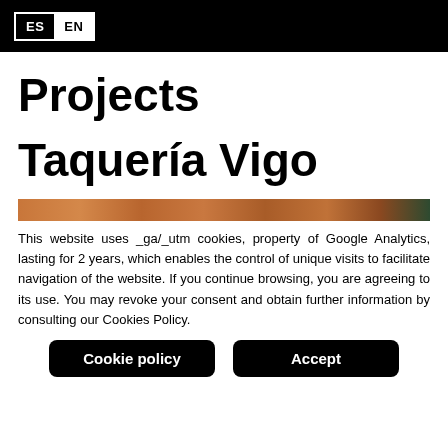ES EN
Projects
Taquería Vigo
[Figure (photo): A narrow horizontal strip of a food photo, showing warm brownish-orange tones consistent with taqueria food imagery.]
This website uses _ga/_utm cookies, property of Google Analytics, lasting for 2 years, which enables the control of unique visits to facilitate navigation of the website. If you continue browsing, you are agreeing to its use. You may revoke your consent and obtain further information by consulting our Cookies Policy.
Cookie policy   Accept